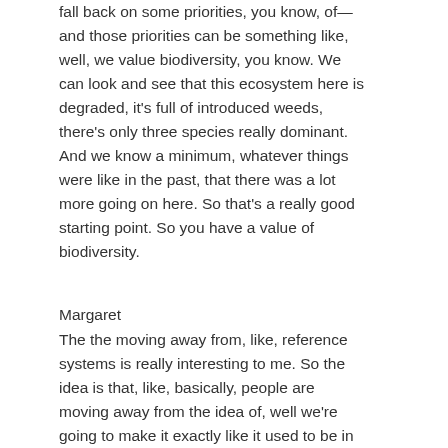fall back on some priorities, you know, of— and those priorities can be something like, well, we value biodiversity, you know. We can look and see that this ecosystem here is degraded, it's full of introduced weeds, there's only three species really dominant. And we know a minimum, whatever things were like in the past, that there was a lot more going on here. So that's a really good starting point. So you have a value of biodiversity.
Margaret
The the moving away from, like, reference systems is really interesting to me. So the idea is that, like, basically, people are moving away from the idea of, well we're going to make it exactly like it used to be in